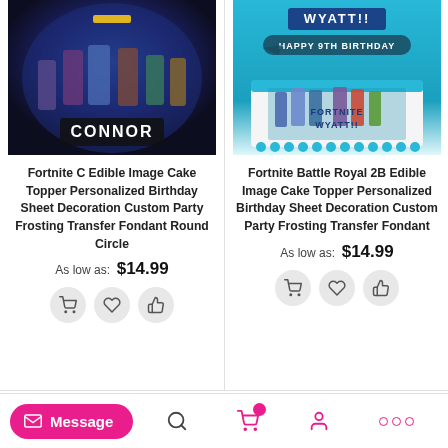[Figure (screenshot): Fortnite themed round cake topper product image with name CONNOR on dark background]
Fortnite C Edible Image Cake Topper Personalized Birthday Sheet Decoration Custom Party Frosting Transfer Fondant Round Circle
As low as:  $14.99
[Figure (screenshot): Fortnite Battle Royal cake topper product image with WYATT name and Happy 9th Birthday text on rectangular cake]
Fortnite Battle Royal 2B Edible Image Cake Topper Personalized Birthday Sheet Decoration Custom Party Frosting Transfer Fondant
As low as:  $14.99
Message  [search] [cart] [account] [more]